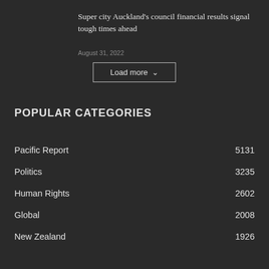Super city Auckland's council financial results signal tough times ahead
August 31, 2022
Load more
POPULAR CATEGORIES
Pacific Report 5131
Politics 3235
Human Rights 2602
Global 2008
New Zealand 1926